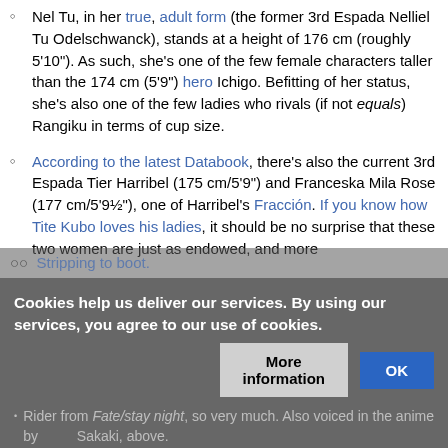Nel Tu, in her true, adult form (the former 3rd Espada Nelliel Tu Odelschwanck), stands at a height of 176 cm (roughly 5'10"). As such, she's one of the few female characters taller than the 174 cm (5'9") hero Ichigo. Befitting of her status, she's also one of the few ladies who rivals (if not equals) Rangiku in terms of cup size.
According to the latest Databook, there's also the current 3rd Espada Tier Harribel (175 cm/5'9") and Franceska Mila Rose (177 cm/5'9½"), one of Harribel's Fracción. If you know how Tite Kubo loves his ladies, it should be no surprise that these two women are just as endowed, and more
Stripping to boot.
Rider from Fate/stay night, so very much. Also voiced in the anime by Sakaki, above.
Cookies help us deliver our services. By using our services, you agree to our use of cookies.